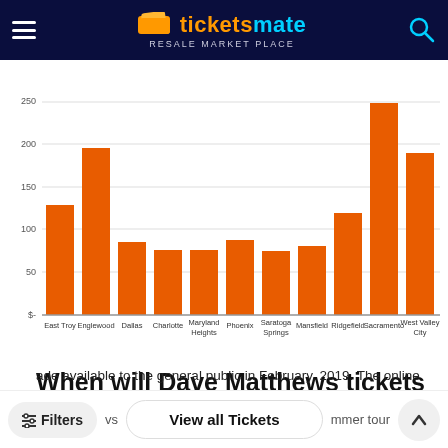[Figure (screenshot): Ticketsmate resale marketplace header with logo, hamburger menu, and search icon on dark navy background]
[Figure (bar-chart): Dave Matthews ticket prices by city]
When will Dave Matthews tickets go on sale?
made available to the general public in February, 2019. The online